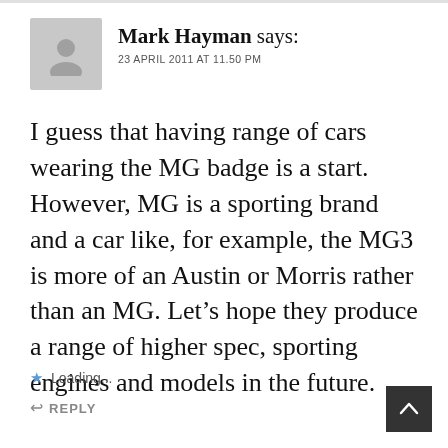Mark Hayman says: 23 APRIL 2011 AT 11.50 PM
I guess that having range of cars wearing the MG badge is a start. However, MG is a sporting brand and a car like, for example, the MG3 is more of an Austin or Morris rather than an MG. Let’s hope they produce a range of higher spec, sporting engines and models in the future.
Loading...
REPLY